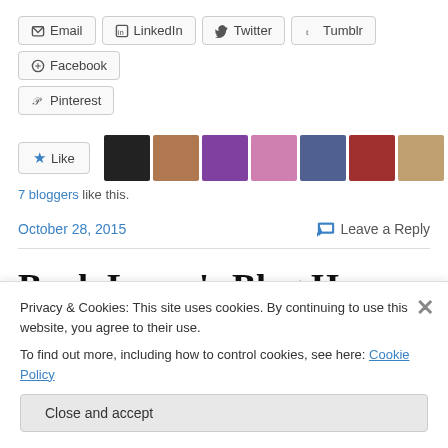Share buttons: Email, LinkedIn, Twitter, Tumblr, Facebook, Pinterest
Like | 7 bloggers like this.
October 28, 2015   Leave a Reply
Book Lover's Blog Hop–Your
Privacy & Cookies: This site uses cookies. By continuing to use this website, you agree to their use. To find out more, including how to control cookies, see here: Cookie Policy
Close and accept